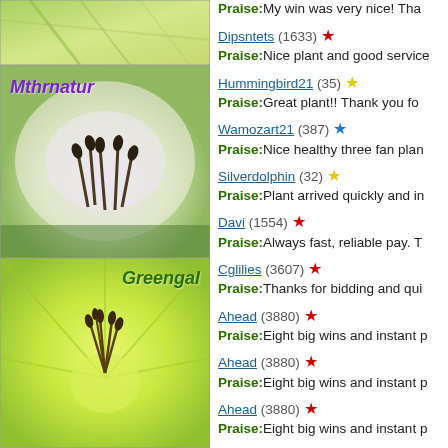[Figure (photo): Close-up photo of a white/cream lily flower with 'Mthrnatur' label in purple italic text]
[Figure (photo): Close-up photo of a yellow-green lily flower with 'Greengal' label in green italic text]
Praise:My win was very nice! Tha
Dipsntets (1633) ★
Praise:Nice plant and good service
Hummingbird21 (35) ☆
Praise:Great plant!! Thank you fo
Wamozart21 (387) ★
Praise:Nice healthy three fan plan
Silverdolphin (32) ☆
Praise:Plant arrived quickly and in
Davi (1554) ★
Praise:Always fast, reliable pay. T
Cglilies (3607) ★
Praise:Thanks for bidding and qui
Ahead (3880) ★
Praise:Eight big wins and instant p
Ahead (3880) ★
Praise:Eight big wins and instant p
Ahead (3880) ★
Praise:Eight big wins and instant p
Ahead (3880) ★
Praise:Eight big wins and instant p